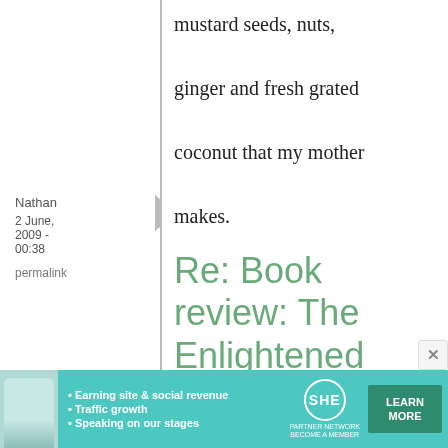mustard seeds, nuts, ginger and fresh grated coconut that my mother makes.
Nathan
2 June, 2009 - 00:38
permalink
Re: Book review: The Enlightened Kitchen, shōjin ryōri ...
[Figure (infographic): SHE Partner Network advertisement banner with photo of woman, bullet points: Earning site & social revenue, Traffic growth, Speaking on our stages, SHE logo, and LEARN MORE button]